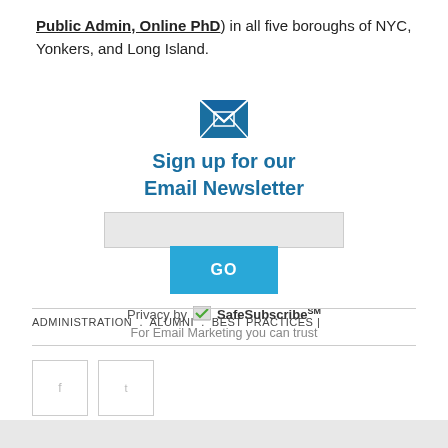Public Admin, Online PhD) in all five boroughs of NYC, Yonkers, and Long Island.
[Figure (illustration): Blue email envelope icon]
Sign up for our Email Newsletter
[Figure (other): Email input field and GO button for newsletter signup]
Privacy by SafeSubscribe℠ For Email Marketing you can trust
ADMINISTRATION . ALUMNI . BEST PRACTICES |
[Figure (other): Two social media icon boxes (Facebook, Twitter)]
[Figure (other): Gray bar at bottom of page]